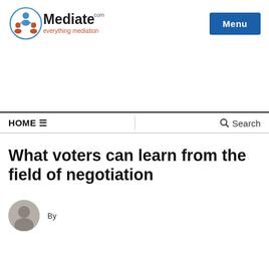Mediate.com — everything mediation | Menu
HOME ☰  |  Search
What voters can learn from the field of negotiation
By